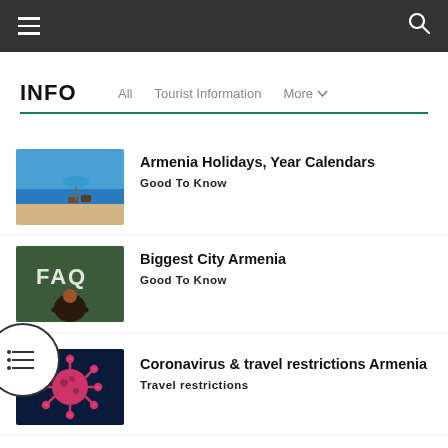INFO – All | Tourist Information | More
INFO
Armenia Holidays, Year Calendars – Good To Know
Biggest City Armenia – Good To Know
Coronavirus & travel restrictions Armenia – Travel restrictions
National Tourist Information Armenia